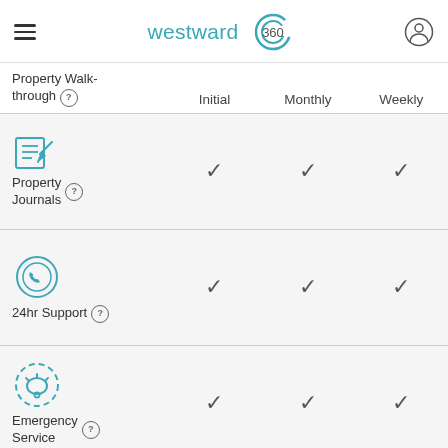westward 360
|  | Initial | Monthly | Weekly |
| --- | --- | --- | --- |
| Property Walk-through ? | ✓ | ✓ | ✓ |
| Property Journals ? | ✓ | ✓ | ✓ |
| 24hr Support ? | ✓ | ✓ | ✓ |
| Emergency Service ? | ✓ | ✓ | ✓ |